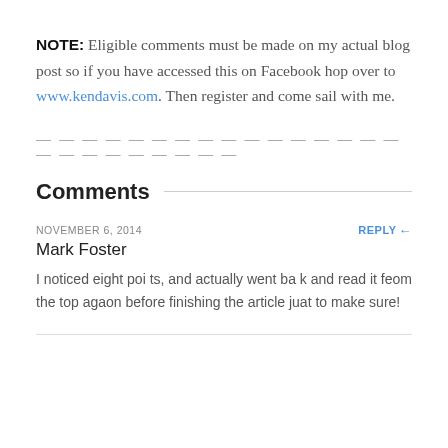NOTE: Eligible comments must be made on my actual blog post so if you have accessed this on Facebook hop over to www.kendavis.com. Then register and come sail with me.
— — — — — — — — — — — — — — — — — — — — — — — — —
Comments
NOVEMBER 6, 2014
REPLY
Mark Foster
I noticed eight poi ts, and actually went ba k and read it feom the top agaon before finishing the article juat to make sure!